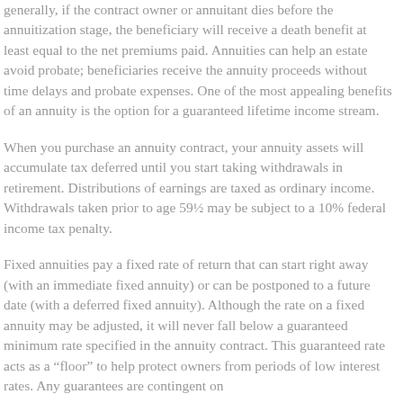generally, if the contract owner or annuitant dies before the annuitization stage, the beneficiary will receive a death benefit at least equal to the net premiums paid. Annuities can help an estate avoid probate; beneficiaries receive the annuity proceeds without time delays and probate expenses. One of the most appealing benefits of an annuity is the option for a guaranteed lifetime income stream.
When you purchase an annuity contract, your annuity assets will accumulate tax deferred until you start taking withdrawals in retirement. Distributions of earnings are taxed as ordinary income. Withdrawals taken prior to age 59½ may be subject to a 10% federal income tax penalty.
Fixed annuities pay a fixed rate of return that can start right away (with an immediate fixed annuity) or can be postponed to a future date (with a deferred fixed annuity). Although the rate on a fixed annuity may be adjusted, it will never fall below a guaranteed minimum rate specified in the annuity contract. This guaranteed rate acts as a “floor” to help protect owners from periods of low interest rates. Any guarantees are contingent on